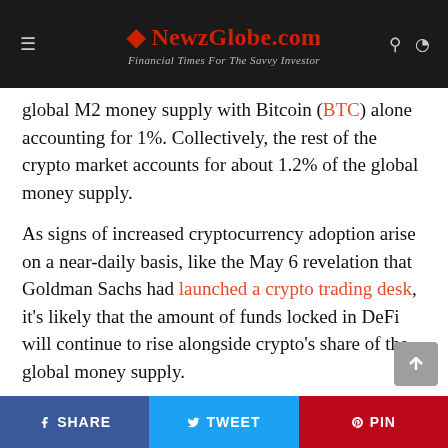🌐 NewzGlobe.com — Financial Times For The Savvy Investor
global M2 money supply with Bitcoin (BTC) alone accounting for 1%. Collectively, the rest of the crypto market accounts for about 1.2% of the global money supply.
As signs of increased cryptocurrency adoption arise on a near-daily basis, like the May 6 revelation that Goldman Sachs had launched a crypto trading desk, it's likely that the amount of funds locked in DeFi will continue to rise alongside crypto's share of the global money supply.
The views and opinions expressed here are solely
SHARE  TWEET  PIN